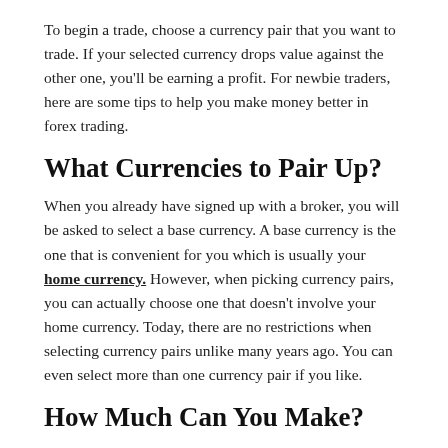To begin a trade, choose a currency pair that you want to trade. If your selected currency drops value against the other one, you'll be earning a profit. For newbie traders, here are some tips to help you make money better in forex trading.
What Currencies to Pair Up?
When you already have signed up with a broker, you will be asked to select a base currency. A base currency is the one that is convenient for you which is usually your home currency. However, when picking currency pairs, you can actually choose one that doesn't involve your home currency. Today, there are no restrictions when selecting currency pairs unlike many years ago. You can even select more than one currency pair if you like.
How Much Can You Make?
In every trade that you make, you also make profit out of